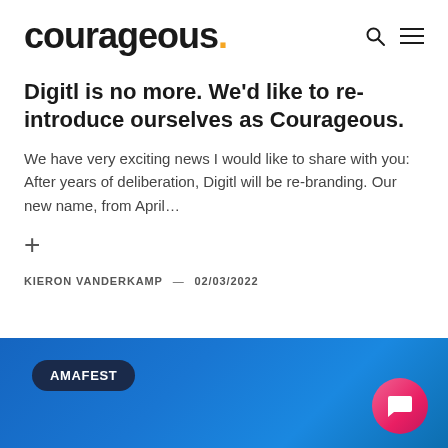courageous.
Digitl is no more. We'd like to re-introduce ourselves as Courageous.
We have very exciting news I would like to share with you: After years of deliberation, Digitl will be re-branding. Our new name, from April…
+
KIERON VANDERKAMP — 02/03/2022
[Figure (photo): Blue gradient background card image with AMAFEST dark pill badge label in top left, and a pink circular chat bubble icon in bottom right corner]